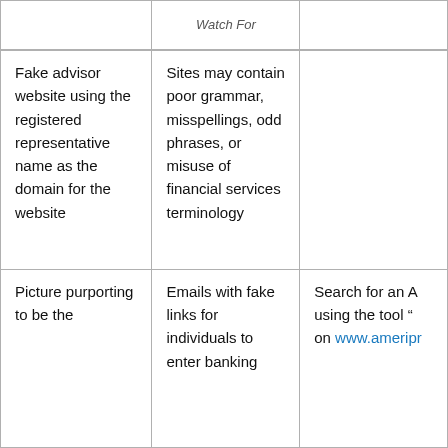|  | Watch For |  |
| --- | --- | --- |
| Fake advisor website using the registered representative name as the domain for the website | Sites may contain poor grammar, misspellings, odd phrases, or misuse of financial services terminology |  |
| Picture purporting to be the | Emails with fake links for individuals to enter banking | Search for an A using the tool " on www.ameripr |